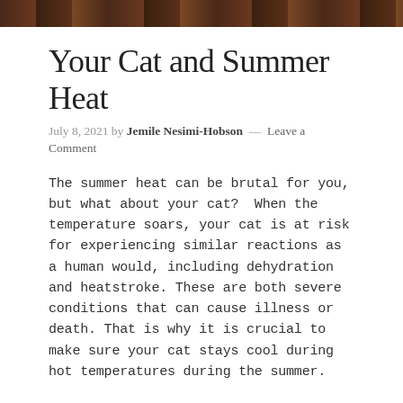[Figure (photo): Top strip of a photo showing what appears to be a cat or dark-colored animal, cropped to a narrow horizontal band at the top of the page.]
Your Cat and Summer Heat
July 8, 2021 by Jemile Nesimi-Hobson — Leave a Comment
The summer heat can be brutal for you, but what about your cat? When the temperature soars, your cat is at risk for experiencing similar reactions as a human would, including dehydration and heatstroke. These are both severe conditions that can cause illness or death. That is why it is crucial to make sure your cat stays cool during hot temperatures during the summer.
Keep your cat hydrated
This is the most obvious way to keep your cat safer during hot weather. Make sure your cat has access to clean water in their bowl regularly and that it is complete. If you go away, make sure your cat sitter is aware that they must do this, or you can purchase an